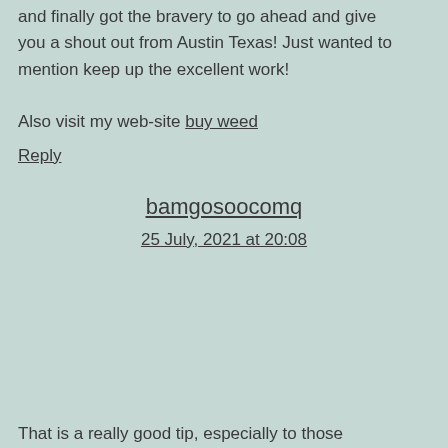and finally got the bravery to go ahead and give you a shout out from Austin Texas! Just wanted to mention keep up the excellent work!

Also visit my web-site buy weed
Reply
bamgosoocomq
25 July, 2021 at 20:08
That is a really good tip, especially to those